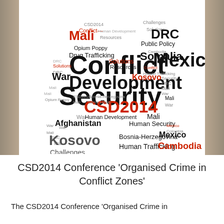[Figure (infographic): Word cloud in the shape of an X/bowtie figure. Words related to conflict, security, and organised crime in various sizes and colors (red and black). Key words include: Conflict, Security, Development, CSD2014, War, Kosovo, Mali, Mexico, Somalia, DRC, Afghanistan, Cambodia, Drug Trafficking, Human Trafficking, Insurgency, Resources, Solutions, Public Policy, Human Security, Human Development, Bosnia-Herzegovina, Sierra Leone, Opium Poppy, Challenges.]
CSD2014 Conference ‘Organised Crime in Conflict Zones’
The CSD2014 Conference ‘Organised Crime in